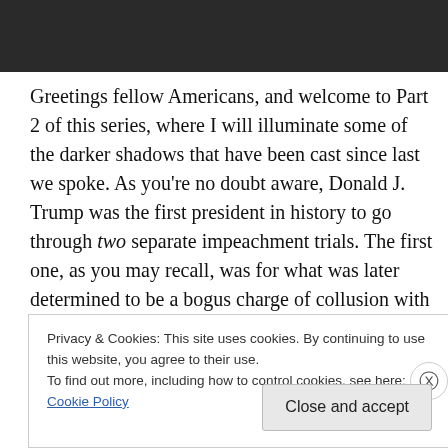[Figure (photo): Dark photograph strip at the top of the page, showing a partially visible image with dark tones.]
Greetings fellow Americans, and welcome to Part 2 of this series, where I will illuminate some of the darker shadows that have been cast since last we spoke. As you're no doubt aware, Donald J. Trump was the first president in history to go through two separate impeachment trials. The first one, as you may recall, was for what was later determined to be a bogus charge of collusion with Russia that the Democrats were claiming that he used to finagle his way into the White House, and the last one, for which
Privacy & Cookies: This site uses cookies. By continuing to use this website, you agree to their use.
To find out more, including how to control cookies, see here: Cookie Policy
Close and accept